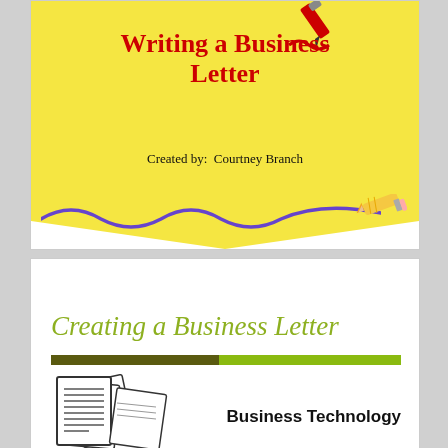[Figure (illustration): Slide cover with yellow diamond shape, red pen/pencil icons, squiggly blue line decoration. Title reads 'Writing a Business Letter', author 'Created by: Courtney Branch']
Writing a Business Letter
Created by: Courtney Branch
[Figure (illustration): Slide with 'Creating a Business Letter' heading in olive/green italic serif font, dark olive and bright green divider bar, stacked document pages clipart icon on the left, and 'Business Technology' text on the right.]
Creating a Business Letter
Business Technology